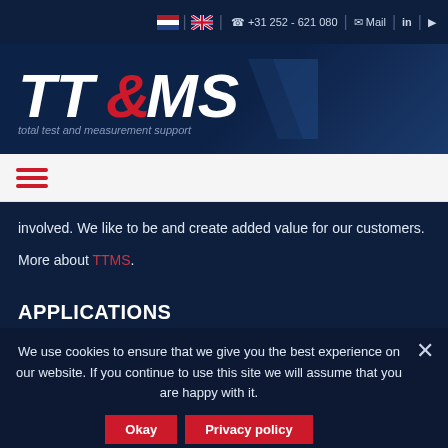+31 252 - 621 080 | Mail
[Figure (logo): TT&MS logo with tagline 'total test and measurement support' on dark blue background]
[Figure (infographic): Hamburger menu icon with three red horizontal bars on light grey background]
involved. We like to be and create added value for our customers.

More about TTMS.
APPLICATIONS
We use cookies to ensure that we give you the best experience on our website. If you continue to use this site we will assume that you are happy with it.
Okay | Privacy policy